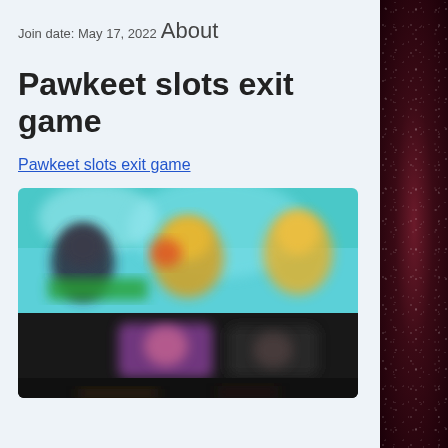Join date: May 17, 2022
About
Pawkeet slots exit game
Pawkeet slots exit game
[Figure (screenshot): Blurred screenshot of a colorful video game interface showing animated characters and a dark lower portion with game UI elements]